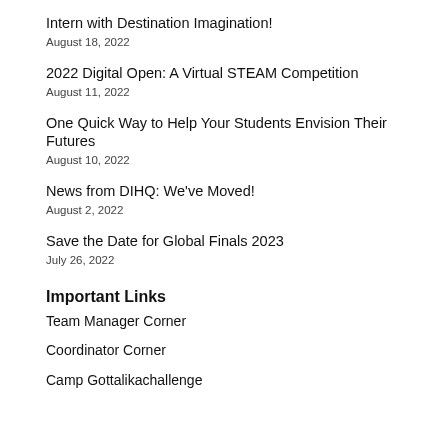Intern with Destination Imagination!
August 18, 2022
2022 Digital Open: A Virtual STEAM Competition
August 11, 2022
One Quick Way to Help Your Students Envision Their Futures
August 10, 2022
News from DIHQ: We've Moved!
August 2, 2022
Save the Date for Global Finals 2023
July 26, 2022
Important Links
Team Manager Corner
Coordinator Corner
Camp Gottalikachallenge